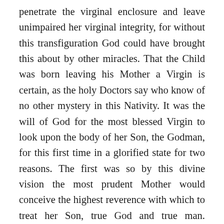penetrate the virginal enclosure and leave unimpaired her virginal integrity, for without this transfiguration God could have brought this about by other miracles. That the Child was born leaving his Mother a Virgin is certain, as the holy Doctors say who know of no other mystery in this Nativity. It was the will of God for the most blessed Virgin to look upon the body of her Son, the Godman, for this first time in a glorified state for two reasons. The first was so by this divine vision the most prudent Mother would conceive the highest reverence with which to treat her Son, true God and true man. Though She was already informed of his twofold nature, the Lord nevertheless ordained that by ocular demonstration She would be filled with new graces corresponding to the greatness of her most holy Son which was thus manifested to